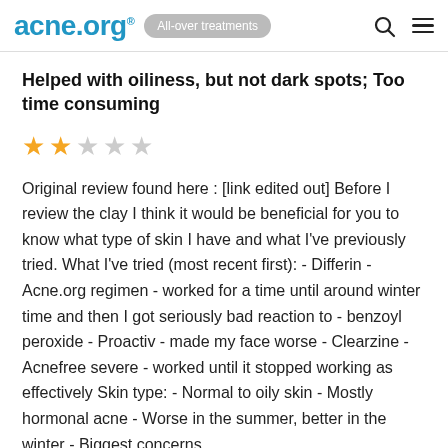acne.org® All-over treatments
Helped with oiliness, but not dark spots; Too time consuming
[Figure (other): Star rating: 2 out of 5 stars]
Original review found here : [link edited out] Before I review the clay I think it would be beneficial for you to know what type of skin I have and what I've previously tried. What I've tried (most recent first): - Differin - Acne.org regimen - worked for a time until around winter time and then I got seriously bad reaction to - benzoyl peroxide - Proactiv - made my face worse - Clearzine - Acnefree severe - worked until it stopped working as effectively Skin type: - Normal to oily skin - Mostly hormonal acne - Worse in the summer, better in the winter - Biggest concerns